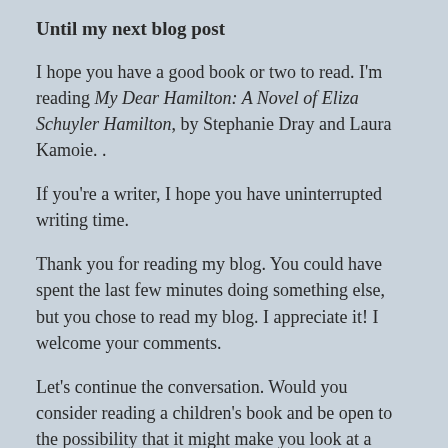Until my next blog post
I hope you have a good book or two to read. I'm reading My Dear Hamilton: A Novel of Eliza Schuyler Hamilton, by Stephanie Dray and Laura Kamoie. .
If you're a writer, I hope you have uninterrupted writing time.
Thank you for reading my blog. You could have spent the last few minutes doing something else, but you chose to read my blog. I appreciate it! I welcome your comments.
Let's continue the conversation. Would you consider reading a children's book and be open to the possibility that it might make you look at a world problem from a different perspective? Have you read Sea Prayer, by Khaled Hosseini? What did you like or